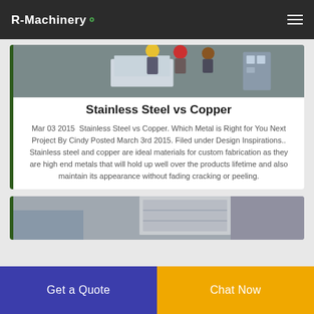R-Machinery
[Figure (photo): Workers in hard hats gathered around a machine or workstation in an industrial setting]
Stainless Steel vs Copper
Mar 03 2015  Stainless Steel vs Copper. Which Metal is Right for You Next Project By Cindy Posted March 3rd 2015. Filed under Design Inspirations.. Stainless steel and copper are ideal materials for custom fabrication as they are high end metals that will hold up well over the products lifetime and also maintain its appearance without fading cracking or peeling.
[Figure (photo): Partial view of an industrial or manufacturing scene]
Get a Quote
Chat Now